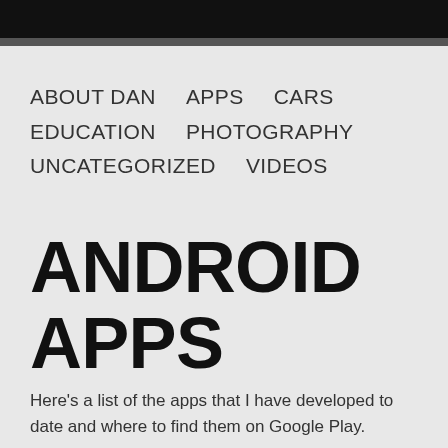ABOUT DAN   APPS   CARS   EDUCATION   PHOTOGRAPHY   UNCATEGORIZED   VIDEOS
ANDROID APPS
Here's a list of the apps that I have developed to date and where to find them on Google Play.